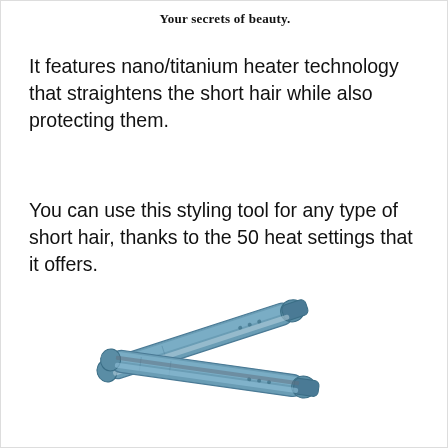Your secrets of beauty.
It features nano/titanium heater technology that straightens the short hair while also protecting them.
You can use this styling tool for any type of short hair, thanks to the 50 heat settings that it offers.
[Figure (photo): A blue/gray nano titanium hair straightener flat iron shown open at an angle against a white background]